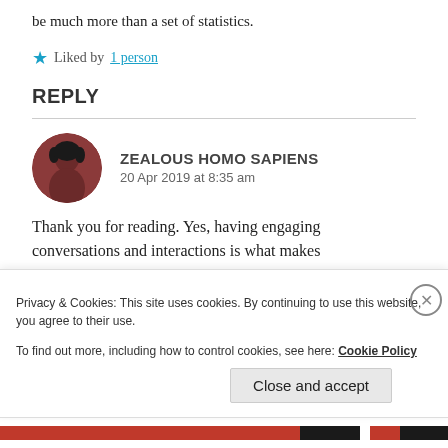be much more than a set of statistics.
Liked by 1 person
REPLY
ZEALOUS HOMO SAPIENS
20 Apr 2019 at 8:35 am
Thank you for reading. Yes, having engaging conversations and interactions is what makes
Privacy & Cookies: This site uses cookies. By continuing to use this website, you agree to their use.
To find out more, including how to control cookies, see here: Cookie Policy
Close and accept